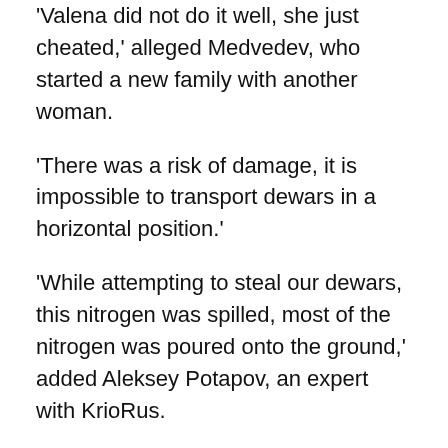'Valena did not do it well, she just cheated,' alleged Medvedev, who started a new family with another woman.
'There was a risk of damage, it is impossible to transport dewars in a horizontal position.'
'While attempting to steal our dewars, this nitrogen was spilled, most of the nitrogen was poured onto the ground,' added Aleksey Potapov, an expert with KrioRus.
The human remains 'began to heat up'.
Udalova claims she was unfairly ousted from her old company and is the rightful owner of its assets.
'There are a lot of orders from different